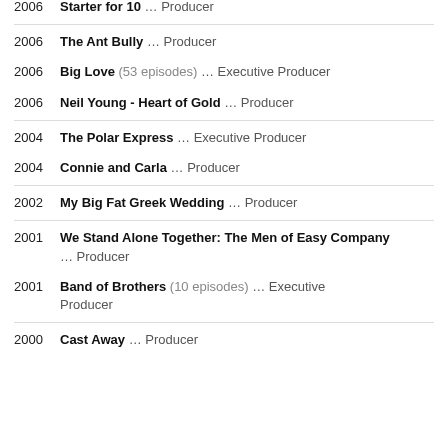2006  Starter for 10 … Producer
2006  The Ant Bully … Producer
2006  Big Love (53 episodes) … Executive Producer
2006  Neil Young - Heart of Gold … Producer
2004  The Polar Express … Executive Producer
2004  Connie and Carla … Producer
2002  My Big Fat Greek Wedding … Producer
2001  We Stand Alone Together: The Men of Easy Company … Producer
2001  Band of Brothers (10 episodes) … Executive Producer
2000  Cast Away … Producer